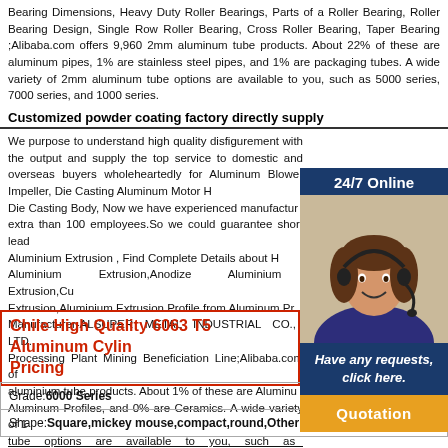Bearing Dimensions, Heavy Duty Roller Bearings, Parts of a Roller Bearing, Roller Bearing Design, Single Row Roller Bearing, Cross Roller Bearing, Taper Bearing ;Alibaba.com offers 9,960 2mm aluminum tube products. About 22% of these are aluminum pipes, 1% are stainless steel pipes, and 1% are packaging tubes. A wide variety of 2mm aluminum tube options are available to you, such as 5000 series, 7000 series, and 1000 series.
Customized powder coating factory directly supply
We purpose to understand high quality disfigurement with the output and supply the top service to domestic and overseas buyers wholeheartedly for Aluminum Blower Impeller, Die Casting Aluminum Motor H, Die Casting Body, Now we have experienced manufactur, extra than 100 employees.So we could guarantee short lead Aluminium Extrusion , Find Complete Details about H Aluminium Extrusion,Anodize Aluminium Extrusion,Cu Extrusion,Aluminium Extrusion Profile from Aluminum Pr Manufacturer-ALSUPER METAL INDUSTRIAL CO., LTD. Processing Plant Mining Beneficiation Line;Alibaba.com of aluminium tube products. About 1% of these are Aluminu Aluminum Profiles, and 0% are Ceramics. A wide variety of 1 tube options are available to you, such as shape, or
[Figure (illustration): Sidebar with dark blue '24/7 Online' header, photo of woman with headset, dark blue 'Have any requests, click here.' text, and orange 'Quotation' button]
Chile High Quality 6063 T5 Aluminum Cylin Pricing
| Grade: 6000 Series |
| Shape: Square,mickey mouse,compact,round,Other shapes |